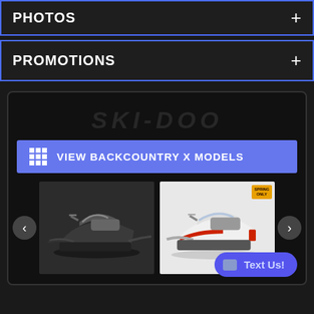PHOTOS
PROMOTIONS
[Figure (screenshot): Snowmobile product page with Ski-Doo branding, a blue 'VIEW BACKCOUNTRY X MODELS' button with grid icon, a carousel showing two snowmobiles (one dark/black, one white with red accents and a Spring Only badge), left/right carousel navigation arrows, and a 'Text Us!' chat button in the bottom right.]